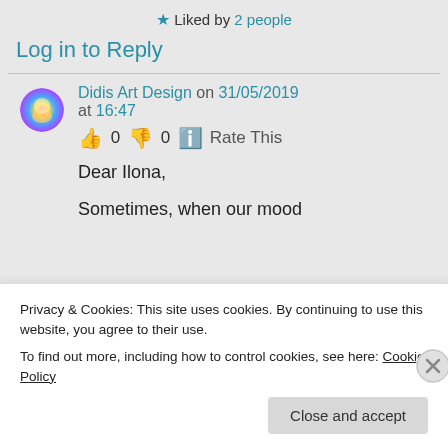★ Liked by 2 people
Log in to Reply
Didis Art Design on 31/05/2019 at 16:47
👍 0 👎 0 ℹ Rate This
Dear Ilona,
Sometimes, when our mood
Privacy & Cookies: This site uses cookies. By continuing to use this website, you agree to their use.
To find out more, including how to control cookies, see here: Cookie Policy
Close and accept